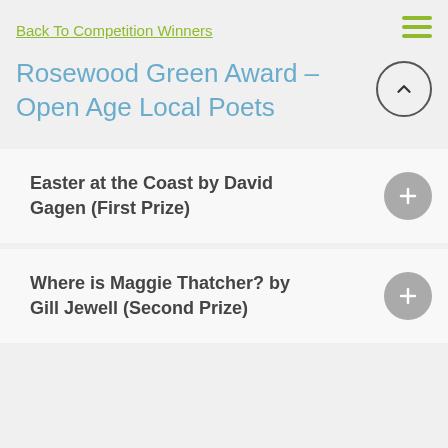Back To Competition Winners
Rosewood Green Award – Open Age Local Poets
Easter at the Coast by David Gagen (First Prize)
Where is Maggie Thatcher? by Gill Jewell (Second Prize)